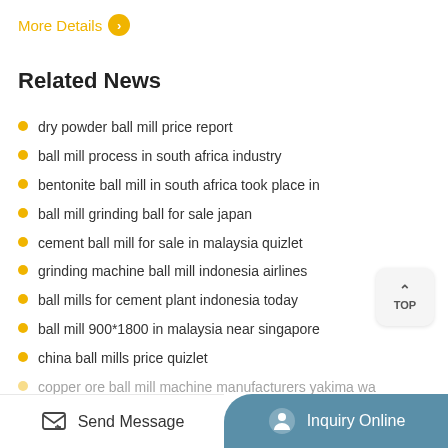More Details >
Related News
dry powder ball mill price report
ball mill process in south africa industry
bentonite ball mill in south africa took place in
ball mill grinding ball for sale japan
cement ball mill for sale in malaysia quizlet
grinding machine ball mill indonesia airlines
ball mills for cement plant indonesia today
ball mill 900*1800 in malaysia near singapore
china ball mills price quizlet
copper ore ball mill machine manufacturers yakima wa
Send Message
Inquiry Online